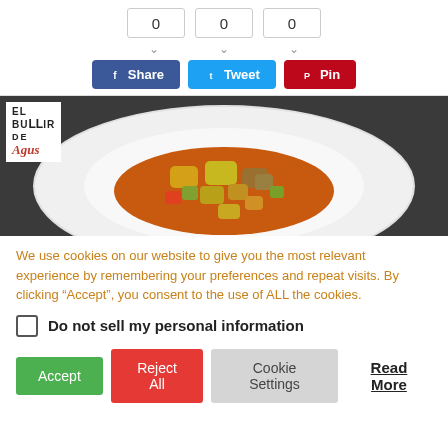[Figure (screenshot): Social share counter section with three boxes showing 0, 0, 0 and Share, Tweet, Pin buttons]
[Figure (photo): Food photo of a stew dish in a white plate with El Bullir de Agus logo overlay. The dish contains vegetables and meat in a red/orange sauce.]
We use cookies on our website to give you the most relevant experience by remembering your preferences and repeat visits. By clicking “Accept”, you consent to the use of ALL the cookies.
Do not sell my personal information
Accept
Reject All
Cookie Settings
Read More